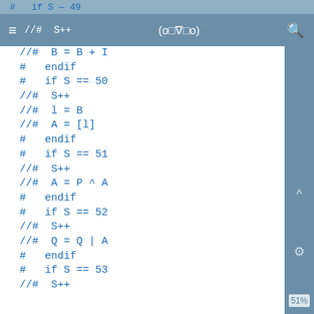≡  //# S++   (o□▽□o)   🔍
#   if S — 49
//# B = B + I
#   endif
#   if S == 50
//#  S++
//#  l = B
//#  A = [l]
#   endif
#   if S == 51
//#  S++
//#  A = P ^ A
#   endif
#   if S == 52
//#  S++
//#  Q = Q | A
#   endif
#   if S == 53
//#  S++